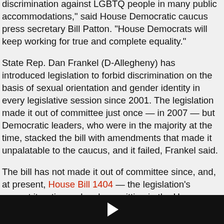huge step forward, Pennsylvania bill permits discrimination against LGBTQ people in many public accommodations," said House Democratic caucus press secretary Bill Patton. "House Democrats will keep working for true and complete equality."
State Rep. Dan Frankel (D-Allegheny) has introduced legislation to forbid discrimination on the basis of sexual orientation and gender identity in every legislative session since 2001. The legislation made it out of committee just once — in 2007 — but Democratic leaders, who were in the majority at the time, stacked the bill with amendments that made it unpalatable to the caucus, and it failed, Frankel said.
The bill has not made it out of committee since, and, at present, House Bill 1404 — the legislation's current iteration — has been sitting in the House State…